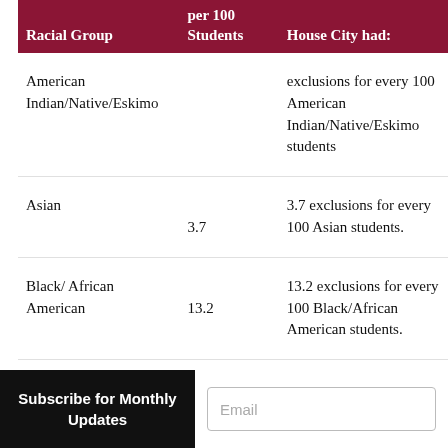| Racial Group | per 100 Students | House City had: |
| --- | --- | --- |
| American Indian/Native/Eskimo |  | exclusions for every 100 American Indian/Native/Eskimo students |
| Asian | 3.7 | 3.7 exclusions for every 100 Asian students. |
| Black/ African American | 13.2 | 13.2 exclusions for every 100 Black/African American students. |
Subscribe for Monthly Updates